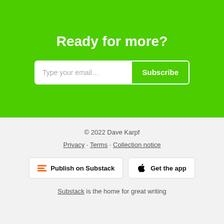Ready for more?
[Figure (other): Email subscription input box with 'Type your email...' placeholder and a green 'Subscribe' button]
© 2022 Dave Karpf
Privacy · Terms · Collection notice
[Figure (other): Two buttons: 'Publish on Substack' with orange Substack logo and 'Get the app' with Apple logo]
Substack is the home for great writing